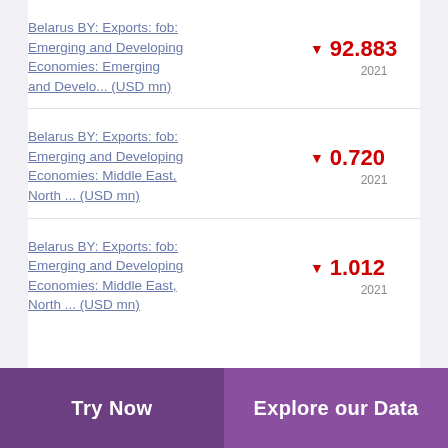Belarus BY: Exports: fob: Emerging and Developing Economies: Emerging and Develo... (USD mn) ▼ 92.883 2021
Belarus BY: Exports: fob: Emerging and Developing Economies: Middle East, North ... (USD mn) ▼ 0.720 2021
Belarus BY: Exports: fob: Emerging and Developing Economies: Middle East, North ... (USD mn) ▼ 1.012 2021
Try Now | Explore our Data